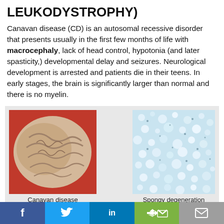LEUKODYSTROPHY)
Canavan disease (CD) is an autosomal recessive disorder that presents usually in the first few months of life with macrocephaly, lack of head control, hypotonia (and later spasticity,) developmental delay and seizures. Neurological development is arrested and patients die in their teens. In early stages, the brain is significantly larger than normal and there is no myelin.
[Figure (photo): Two medical images side by side: left shows a photograph of a brain with Canavan disease on a red background; right shows a microscopic image of spongy degeneration (light blue/white tissue). Captions: 'Canavan disease' and 'Spongy degeneration'.]
As the disease advances, brain weight is reduced and white matter atrophy develops. On microscopic
f  [Twitter bird]  in  [share]  [mail]